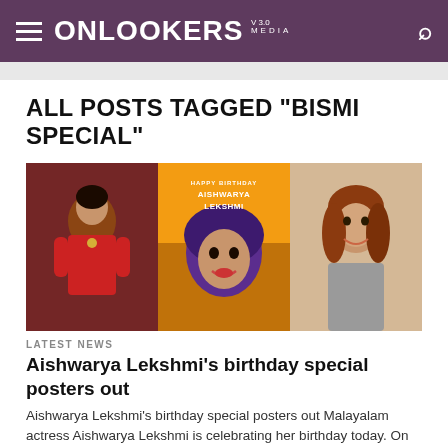ONLOOKERS MEDIA V 3.0
ALL POSTS TAGGED "BISMI SPECIAL"
[Figure (photo): Collage of three images: left shows a woman in red Indian attire, center shows a stylized illustration birthday poster for Aishwarya Lekshmi with text 'HAPPY BIRTHDAY AISHWARYA LEKSHMI' on an orange/yellow background, right shows a woman with auburn hair in a gray outfit smiling.]
LATEST NEWS
Aishwarya Lekshmi's birthday special posters out
Aishwarya Lekshmi's birthday special posters out Malayalam actress Aishwarya Lekshmi is celebrating her birthday today. On this special occasion, the makers of...